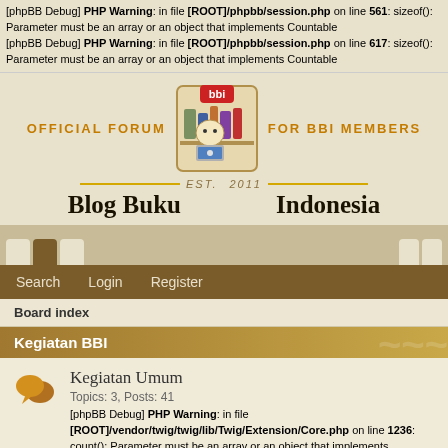[phpBB Debug] PHP Warning: in file [ROOT]/phpbb/session.php on line 561: sizeof(): Parameter must be an array or an object that implements Countable
[phpBB Debug] PHP Warning: in file [ROOT]/phpbb/session.php on line 617: sizeof(): Parameter must be an array or an object that implements Countable
[Figure (logo): Blog Buku Indonesia official forum logo with mascot character, established 2011]
Search  Login  Register
Board index
Kegiatan BBI
Kegiatan Umum
Topics: 3, Posts: 41
[phpBB Debug] PHP Warning: in file [ROOT]/vendor/twig/twig/lib/Twig/Extension/Core.php on line 1236: count(): Parameter must be an array or an object that implements Countable